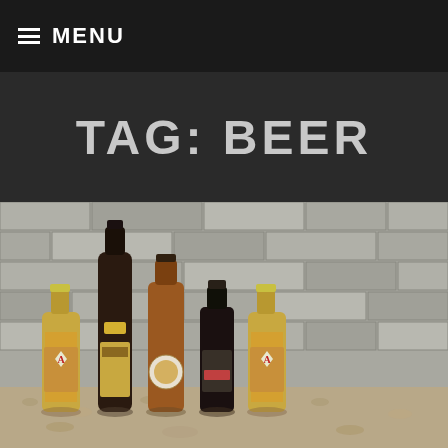≡ MENU
TAG: BEER
[Figure (photo): Six beer bottles of various sizes arranged in a row against a stone brick wall background. Bottles include two with 'A' diamond labels on the outer sides, a tall dark wine-style bottle in the center-left, a brown amber bottle, a shorter dark bottle, and another amber bottle. The ground appears to be gravel/dirt.]